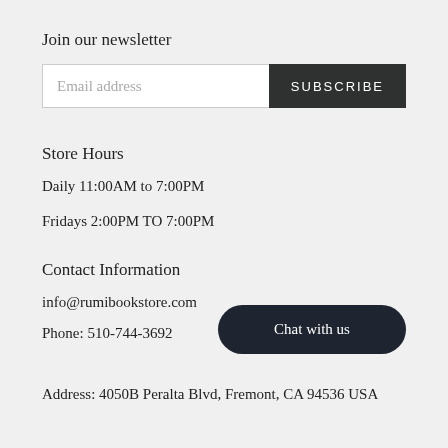Join our newsletter
Email address
SUBSCRIBE
Store Hours
Daily 11:00AM to 7:00PM
Fridays 2:00PM TO 7:00PM
Contact Information
info@rumibookstore.com
Phone: 510-744-3692
Chat with us
Address: 4050B Peralta Blvd, Fremont, CA 94536 USA